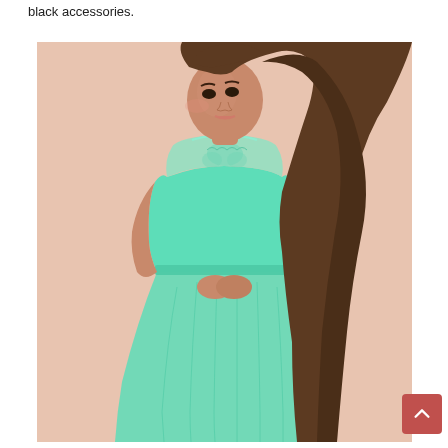black accessories.
[Figure (photo): A young woman with long brunette hair wearing a mint green lace-top maxi dress, posed against a peach/blush background. The dress features a sheer lace bodice with floral detailing and a flowing chiffon skirt.]